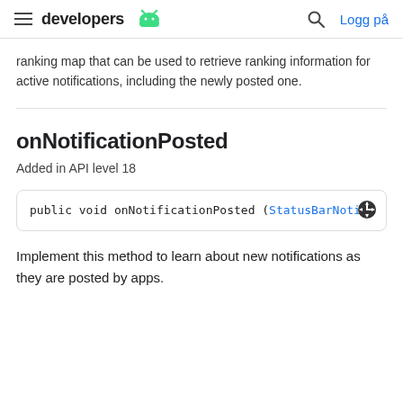developers [android logo] | [search] Logg på
ranking map that can be used to retrieve ranking information for active notifications, including the newly posted one.
onNotificationPosted
Added in API level 18
public void onNotificationPosted (StatusBarNotificat
Implement this method to learn about new notifications as they are posted by apps.